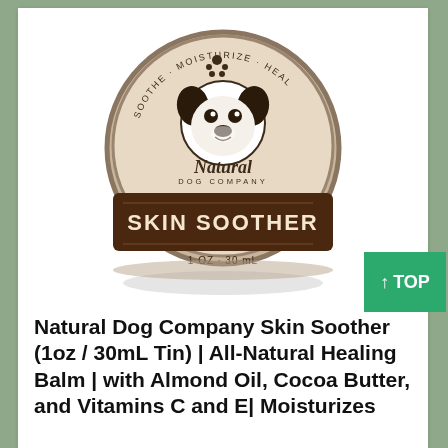[Figure (photo): Natural Dog Company Skin Soother tin (1oz / 30mL), circular metal tin with beige and brown label showing a French Bulldog logo, text reads SOOTHE · MOISTURIZE · HEAL and SKIN SOOTHER]
Natural Dog Company Skin Soother (1oz / 30mL Tin) | All-Natural Healing Balm | with Almond Oil, Cocoa Butter, and Vitamins C and E| Moisturizes